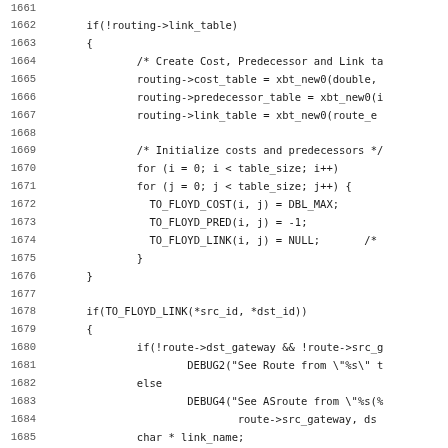Source code listing, lines 1661-1693, showing C code for routing table initialization and Floyd algorithm link checks.